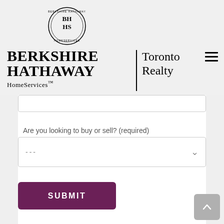[Figure (logo): Berkshire Hathaway HomeServices circular logo with BH HS text in center]
BERKSHIRE HATHAWAY HomeServices™ | Toronto Realty
[Figure (screenshot): Web form with dropdown selector labeled 'Are you looking to buy or sell? (required)' with placeholder '---' and a SUBMIT button]
Are you looking to buy or sell? (required)
---
SUBMIT